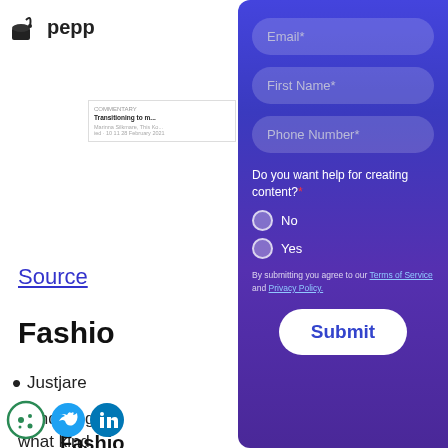[Figure (screenshot): Peppertype.ai website screenshot showing logo, article card, Source link, Fashion heading and list item in the background, partially covered by a form overlay panel.]
Source
Fashion
Justjare
Send blog
what kind
[Figure (screenshot): Form overlay panel with gradient blue-purple background containing Email*, First Name*, Phone Number* input fields, a radio-button question 'Do you want help for creating content?*' with No/Yes options, terms of service text, and a Submit button.]